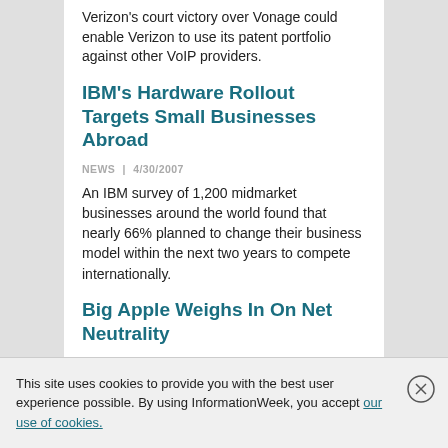Verizon's court victory over Vonage could enable Verizon to use its patent portfolio against other VoIP providers.
IBM's Hardware Rollout Targets Small Businesses Abroad
NEWS  |  4/30/2007
An IBM survey of 1,200 midmarket businesses around the world found that nearly 66% planned to change their business model within the next two years to compete internationally.
Big Apple Weighs In On Net Neutrality
NEWS  |  4/30/2007
This site uses cookies to provide you with the best user experience possible. By using InformationWeek, you accept our use of cookies.